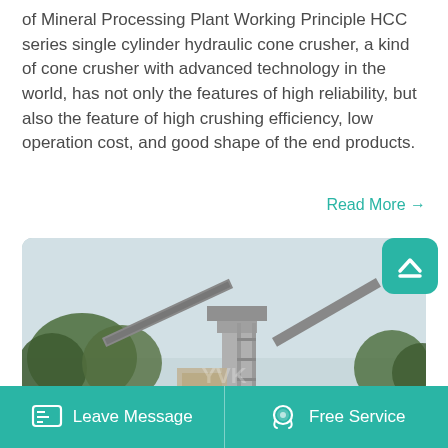of Mineral Processing Plant Working Principle HCC series single cylinder hydraulic cone crusher, a kind of cone crusher with advanced technology in the world, has not only the features of high reliability, but also the feature of high crushing efficiency, low operation cost, and good shape of the end products.
Read More →
[Figure (photo): Outdoor industrial mineral processing plant with conveyor structures, scaffolding, and surrounding trees against a pale sky. Watermark logo visible in the center.]
Leave Message    Free Service